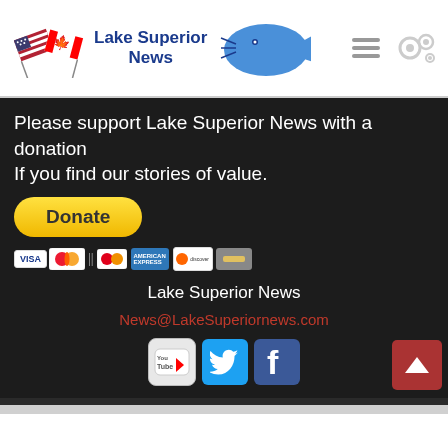[Figure (logo): Lake Superior News logo with US and Canadian flags and a blue fish/lake outline graphic]
Please support Lake Superior News with a donation
If you find our stories of value.
[Figure (other): PayPal donate button with payment card logos (Visa, Mastercard, American Express, Discover)]
Lake Superior News
News@LakeSuperiornews.com
[Figure (other): Social media icons: YouTube, Twitter, Facebook, and a back-to-top button]